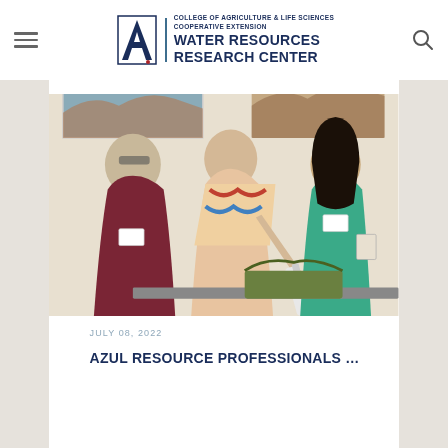College of Agriculture & Life Sciences Cooperative Extension Water Resources Research Center
[Figure (photo): Three people standing at a table in a room with landscape photos on the wall. One person in a maroon shirt, one in a colorful patterned shirt holding a large syringe-like tool over a tray of plants, and one in a green top taking notes.]
JULY 08, 2022
AZUL Resource Professionals...